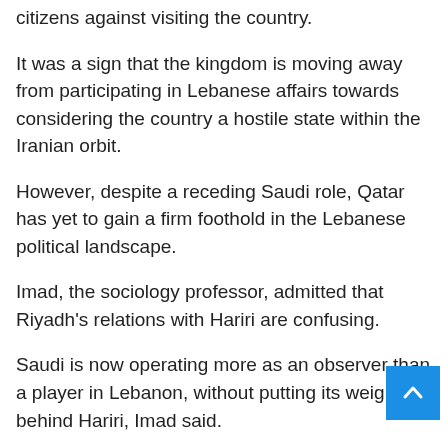citizens against visiting the country.
It was a sign that the kingdom is moving away from participating in Lebanese affairs towards considering the country a hostile state within the Iranian orbit.
However, despite a receding Saudi role, Qatar has yet to gain a firm foothold in the Lebanese political landscape.
Imad, the sociology professor, admitted that Riyadh’s relations with Hariri are confusing.
Saudi is now operating more as an observer than a player in Lebanon, without putting its weight behind Hariri, Imad said.
“Did they abandon him?” he asked. “Then who is their alternative ally?”